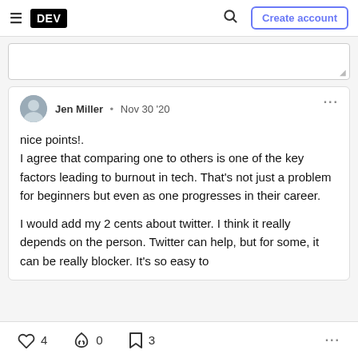DEV — Create account
(textarea / comment input area)
Jen Miller • Nov 30 '20
nice points!.
I agree that comparing one to others is one of the key factors leading to burnout in tech. That's not just a problem for beginners but even as one progresses in their career.

I would add my 2 cents about twitter. I think it really depends on the person. Twitter can help, but for some, it can be really blocker. It's so easy to
❤ 4   🔥 0   🔖 3   ...